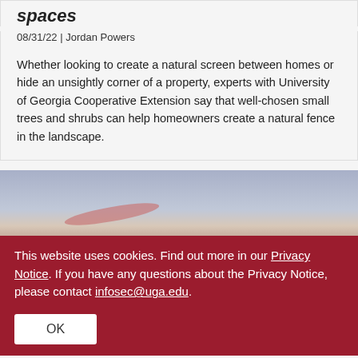spaces
08/31/22 | Jordan Powers
Whether looking to create a natural screen between homes or hide an unsightly corner of a property, experts with University of Georgia Cooperative Extension say that well-chosen small trees and shrubs can help homeowners create a natural fence in the landscape.
[Figure (photo): Partial view of outdoor sky scene with pink-tinted cloud or plant element at dusk/twilight]
This website uses cookies. Find out more in our Privacy Notice. If you have any questions about the Privacy Notice, please contact infosec@uga.edu.